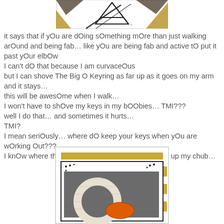[Figure (photo): Top portion of a product image showing what appears to be The Big O Keyring on an arm, with a gold/brown geometric background, partially cropped at top]
it says that if yOu are dOing sOmething mOre than just walking arOund and being fab… like yOu are being fab and active tO put it past yOur elbOw
I can't dO that because I am curvaceOus
but I can shove The Big O Keyring as far up as it goes on my arm and it stays…
this will be awesOme when I walk…
I won't have to shOve my keys in my bOObies… TMI???
well I do that… and sometimes it hurts…
TMI?
I mean seriOusly… where dO keep your keys when yOu are wOrking Out???
I knOw where they are gOing tO be nOw… shOved up my chub…
[Figure (photo): Bottom portion showing a product card/package for The Big O Keyring with gold border design, featuring a large white/cream O-ring keyring and an orange element on a dark gray background]